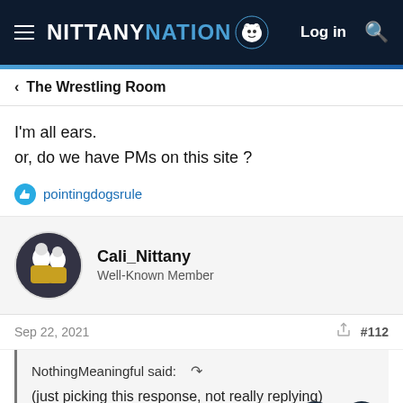NITTANY NATION
The Wrestling Room
I'm all ears.
or, do we have PMs on this site ?
pointingdogsrule
Cali_Nittany
Well-Known Member
Sep 22, 2021  #112
NothingMeaningful said: ↺
(just picking this response, not really replying)